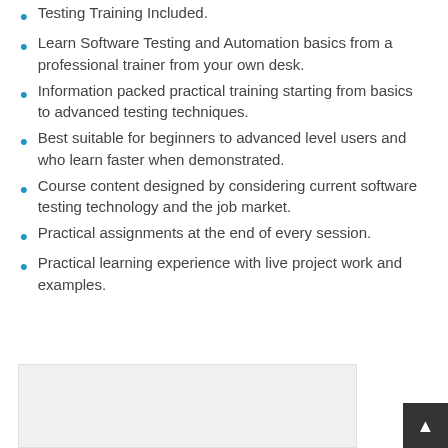Testing Training Included.
Learn Software Testing and Automation basics from a professional trainer from your own desk.
Information packed practical training starting from basics to advanced testing techniques.
Best suitable for beginners to advanced level users and who learn faster when demonstrated.
Course content designed by considering current software testing technology and the job market.
Practical assignments at the end of every session.
Practical learning experience with live project work and examples.
[Figure (other): Gray placeholder image box at bottom left of page]